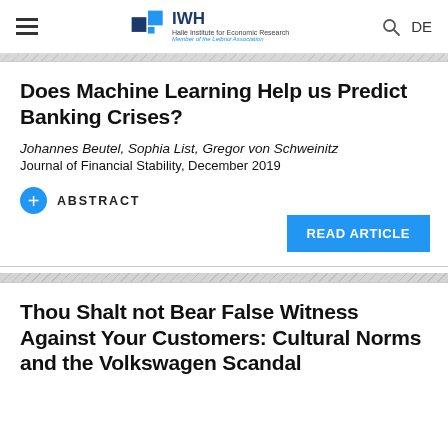IWH – Halle Institute for Economic Research, Member of the Leibniz Association | DE
Does Machine Learning Help us Predict Banking Crises?
Johannes Beutel, Sophia List, Gregor von Schweinitz
Journal of Financial Stability, December 2019
+ ABSTRACT
READ ARTICLE
Thou Shalt not Bear False Witness Against Your Customers: Cultural Norms and the Volkswagen Scandal